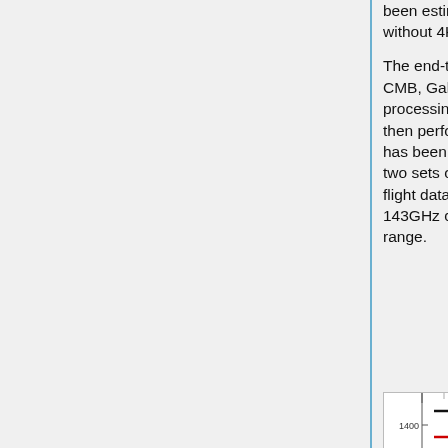been estimated by comparing the spectra obtained on data without 4K lines and data with corrected 4K lines.
The end-to-end Desire simulations include a complete sky (i.e. CMB, Galaxy and point sources) and the complete TOI-processing on the simulated data. The analysis and comparison is then performed on the maps directly and on the power spectra. It has been checked that the 4K lines modeling inputs used in the two sets of simulation are in agreement between them and with in-flight data. Those simulations have been performed on the full 143GHz channel, i.e. 12 detectors, and the full nominal mission range.
[Figure (continuous-plot): Partial view of a chart showing legend entries: '4K uncorrected' in black and '4K corrected' in red, with a y-axis tick at 1400 visible.]